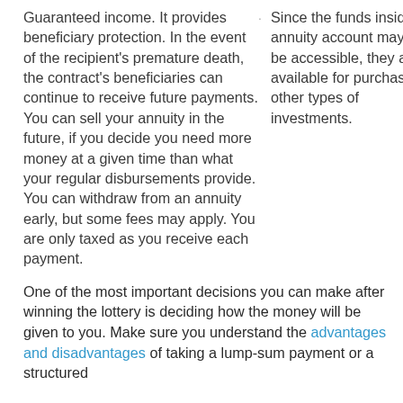Guaranteed income. It provides beneficiary protection. In the event of the recipient's premature death, the contract's beneficiaries can continue to receive future payments. You can sell your annuity in the future, if you decide you need more money at a given time than what your regular disbursements provide. You can withdraw from an annuity early, but some fees may apply. You are only taxed as you receive each payment.
Since the funds inside an annuity account may not be accessible, they are not available for purchasing other types of investments.
One of the most important decisions you can make after winning the lottery is deciding how the money will be given to you. Make sure you understand the advantages and disadvantages of taking a lump-sum payment or a structured